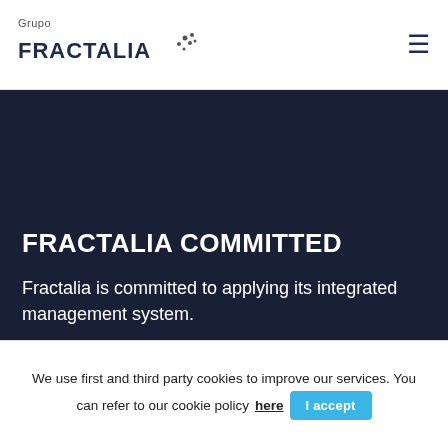Grupo FRACTALIA
FRACTALIA COMMITTED
Fractalia is committed to applying its integrated management system.
More information
[Figure (illustration): Three orange rounded-rectangle icon buttons, each showing a caret/arrow and a plus-circle symbol]
We use first and third party cookies to improve our services. You can refer to our cookie policy here
I accept